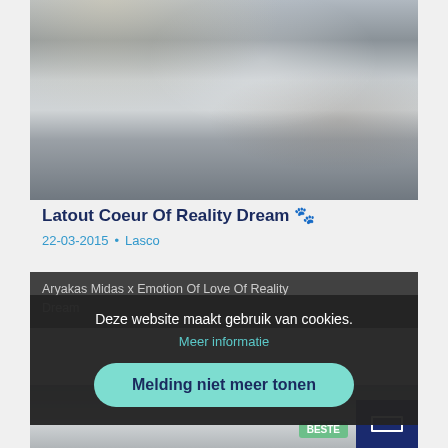[Figure (photo): Photo of a fluffy Old English Sheepdog dog from behind, gray and white fur, outdoors on pavement]
Latout Coeur Of Reality Dream 🐾
22-03-2015  •  Lasco
Aryakas Midas x Emotion Of Love Of Reality Dream
Deze website maakt gebruik van cookies.
Meer informatie
Melding niet meer tonen
[Figure (photo): Partial photo of a sheepdog, bottom section partially visible]